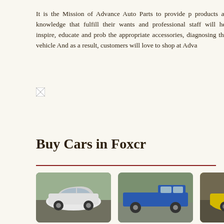It is the Mission of Advance Auto Parts to provide p products and knowledge that fulfill their wants and professional staff will help inspire, educate and pro the appropriate accessories, diagnosing their vehicle And as a result, customers will love to shop at Adva
[Figure (photo): Broken image placeholder]
Buy Cars in Foxcr
[Figure (photo): 2013 Nissan GT-R white sports car parked outdoors with green trees in background]
2013 nissan gt-r
(US $46,900.00)
[Figure (photo): 2007 Dodge Ram 2500 SLT blue pickup truck parked on road with trees in background]
2007 dodge ram 2500 slt
(US $8,160.00)
[Figure (photo): 2006 Porsche Cayman yellow sports car partially visible]
2006 pors cayman
(US $13,20